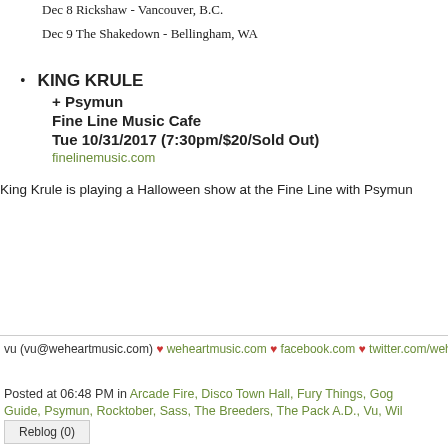Dec 8 Rickshaw - Vancouver, B.C.
Dec 9 The Shakedown - Bellingham, WA
KING KRULE
+ Psymun
Fine Line Music Cafe
Tue 10/31/2017 (7:30pm/$20/Sold Out)
finelinemusic.com
King Krule is playing a Halloween show at the Fine Line with Psymun
vu (vu@weheartmusic.com) ♥ weheartmusic.com ♥ facebook.com ♥ twitter.com/weheart
Posted at 06:48 PM in Arcade Fire, Disco Town Hall, Fury Things, Gog Guide, Psymun, Rocktober, Sass, The Breeders, The Pack A.D., Vu, Wil
Reblog (0)